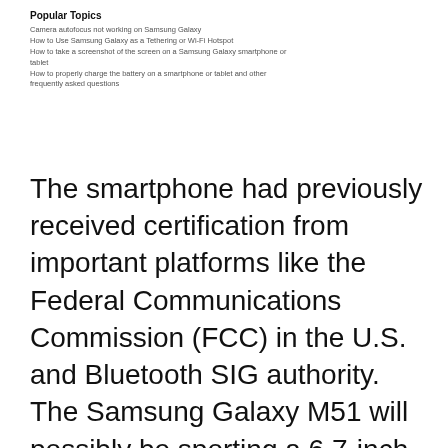Popular Topics
Camera autofocus not working on Samsung Galaxy
How to Use Samsung Galaxy as a Tethering or Wi-Fi Hotspot
How to take a screenshot of the screen on a Samsung Galaxy smartphone or tablet
How to properly charge the battery on a smartphone or tablet and other frequently asked questions
The smartphone had previously received certification from important platforms like the Federal Communications Commission (FCC) in the U.S. and Bluetooth SIG authority. The Samsung Galaxy M51 will possibly be sporting a 6.7-inch FHD+ display with a punch-hole to house the selfie camera. The smartphone will reportedly be using the Snapdragon 730G chipset coupled with 8GB of RAM and 128 GB’s of internal storage. There have been claims previously claiming that the M51 would be packing in a gigantic 7,000mAh sized battery capacity on board with support for 25W fast charging. The